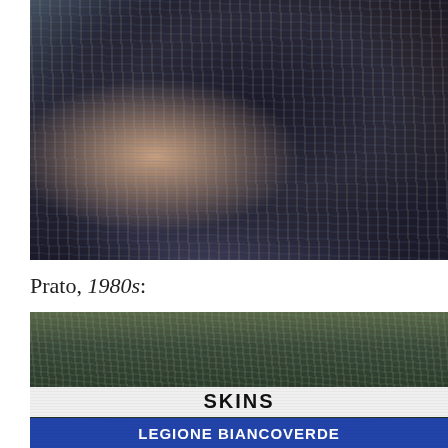[Figure (photo): Crowd scene photograph, appears to be spectators at a sporting or music event, dark and grainy image showing people in a packed venue]
Prato, 1980s:
[Figure (photo): Photograph of a large crowd at a stadium/venue in Prato in the 1980s, with visible banners reading 'SKINS' and 'LEGIONE BIANCOVERDE' (partly obscured), crowd packed densely in the stands]